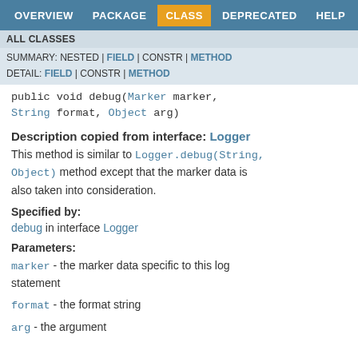OVERVIEW  PACKAGE  CLASS  DEPRECATED  HELP
ALL CLASSES
SUMMARY: NESTED | FIELD | CONSTR | METHOD
DETAIL: FIELD | CONSTR | METHOD
public void debug(Marker marker, String format, Object arg)
Description copied from interface: Logger
This method is similar to Logger.debug(String, Object) method except that the marker data is also taken into consideration.
Specified by:
debug in interface Logger
Parameters:
marker - the marker data specific to this log statement
format - the format string
arg - the argument